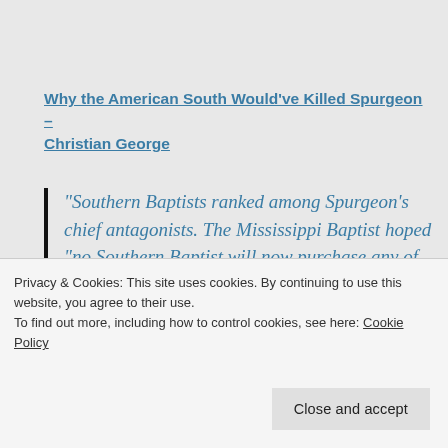Why the American South Would've Killed Spurgeon – Christian George
“Southern Baptists ranked among Spurgeon’s chief antagonists. The Mississippi Baptist hoped “no Southern Baptist will now purchase any of that incendiary’s books.” The Baptist
Privacy & Cookies: This site uses cookies. By continuing to use this website, you agree to their use.
To find out more, including how to control cookies, see here: Cookie Policy
Close and accept
4,000 miles of an awful raking and took